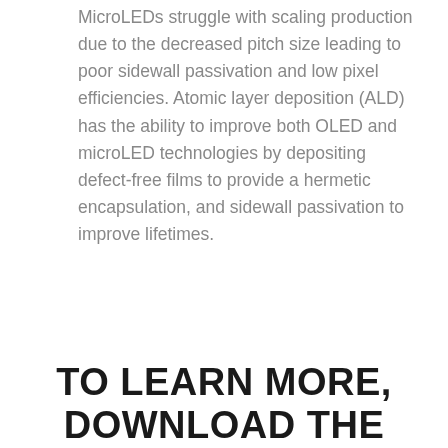MicroLEDs struggle with scaling production due to the decreased pitch size leading to poor sidewall passivation and low pixel efficiencies. Atomic layer deposition (ALD) has the ability to improve both OLED and microLED technologies by depositing defect-free films to provide a hermetic encapsulation, and sidewall passivation to improve lifetimes.
TO LEARN MORE, DOWNLOAD THE